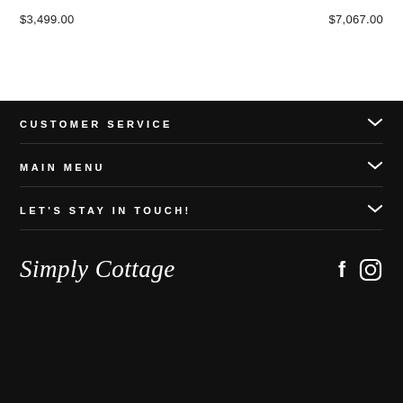$3,499.00
$7,067.00
CUSTOMER SERVICE
MAIN MENU
LET'S STAY IN TOUCH!
[Figure (logo): Simply Cottage cursive logo in white on black background, with Facebook and Instagram icons to the right]